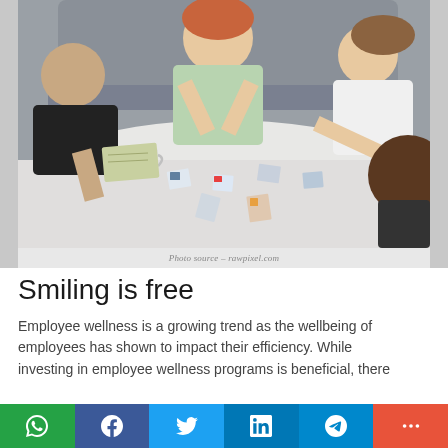[Figure (photo): Group of people sitting around a white table, laughing and handling small photo cards together in a bright workspace setting.]
Photo source – rawpixel.com
Smiling is free
Employee wellness is a growing trend as the wellbeing of employees has shown to impact their efficiency. While investing in employee wellness programs is beneficial, there